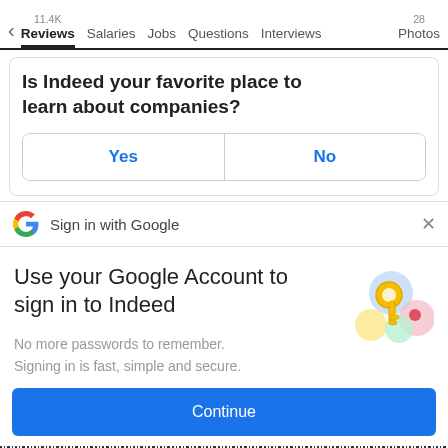< 11.4K Reviews  Salaries  Jobs  Questions  Interviews  28 Photos
Is Indeed your favorite place to learn about companies?
Yes   No
Sign in with Google ×
Use your Google Account to sign in to Indeed
No more passwords to remember. Signing in is fast, simple and secure.
Continue